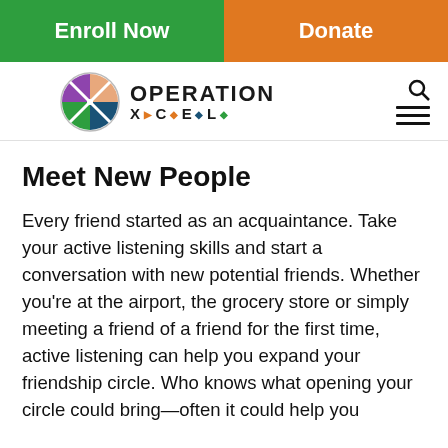Enroll Now | Donate
[Figure (logo): Operation XCEL logo with multicolored circle icon and text]
Meet New People
Every friend started as an acquaintance. Take your active listening skills and start a conversation with new potential friends. Whether you're at the airport, the grocery store or simply meeting a friend of a friend for the first time, active listening can help you expand your friendship circle. Who knows what opening your circle could bring—often it could help you